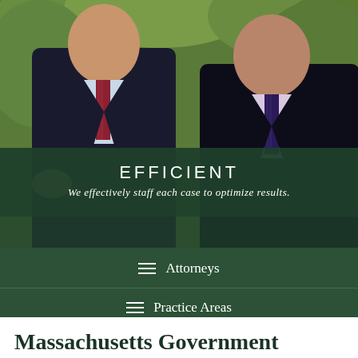[Figure (photo): Two men in dark suits with ties standing outdoors with green foliage in background, partially obscured by dark green overlay panel]
EFFICIENT
We effectively staff each case to optimize results.
≡ Attorneys
≡ Practice Areas
Massachusetts Government Agencies
Please select a topic below to learn more about the...